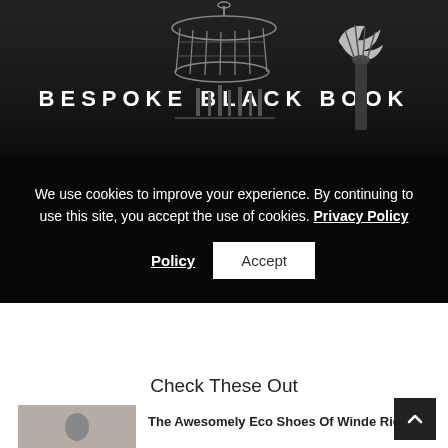[Figure (photo): Bespoke Black Book website header — dark grayscale image featuring a birdcage graphic, the text BESPOKE BLACK BOOK in white capital letters, a white bird silhouette, and decorative candle/vase elements in the background]
We use cookies to improve your experience. By continuing to use this site, you accept the use of cookies. Privacy Policy
Accept
Check These Out
[Figure (photo): Fashion photo thumbnail of a model in a patterned outfit]
The Awesomely Eco Shoes Of Winde Rienstra